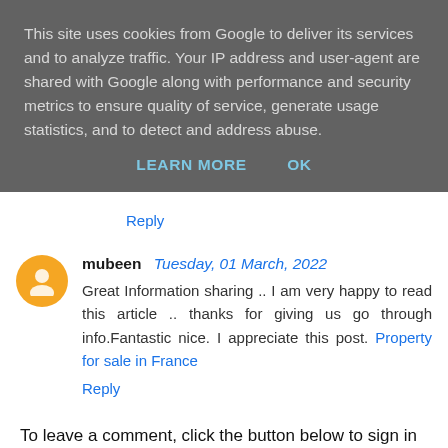This site uses cookies from Google to deliver its services and to analyze traffic. Your IP address and user-agent are shared with Google along with performance and security metrics to ensure quality of service, generate usage statistics, and to detect and address abuse.
LEARN MORE   OK
Reply
mubeen  Tuesday, 01 March, 2022
Great Information sharing .. I am very happy to read this article .. thanks for giving us go through info.Fantastic nice. I appreciate this post. Property for sale in France
Reply
To leave a comment, click the button below to sign in with Google.
SIGN IN WITH GOOGLE